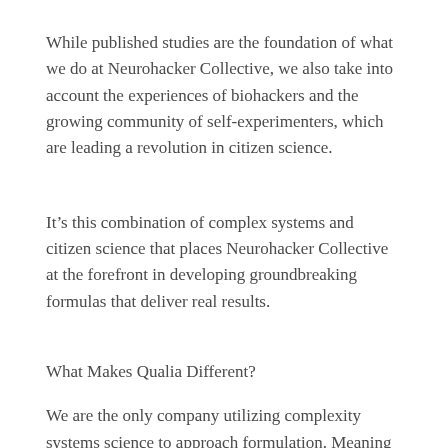While published studies are the foundation of what we do at Neurohacker Collective, we also take into account the experiences of biohackers and the growing community of self-experimenters, which are leading a revolution in citizen science.
It’s this combination of complex systems and citizen science that places Neurohacker Collective at the forefront in developing groundbreaking formulas that deliver real results.
What Makes Qualia Different?
We are the only company utilizing complexity systems science to approach formulation. Meaning we consider the entire